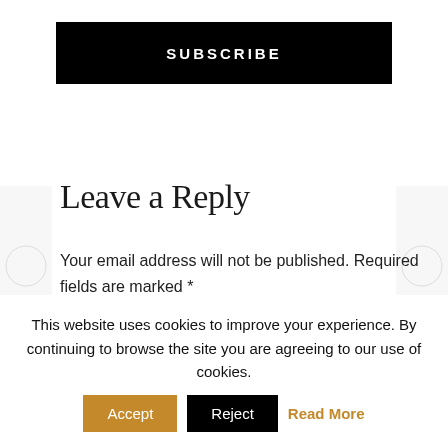SUBSCRIBE
Leave a Reply
Your email address will not be published. Required fields are marked *
Comment *
This website uses cookies to improve your experience. By continuing to browse the site you are agreeing to our use of cookies.